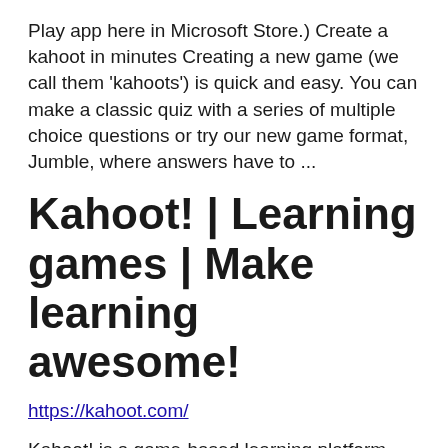Play app here in Microsoft Store.) Create a kahoot in minutes Creating a new game (we call them 'kahoots') is quick and easy. You can make a classic quiz with a series of multiple choice questions or try our new game format, Jumble, where answers have to ...
Kahoot! | Learning games | Make learning awesome!
https://kahoot.com/
Kahoot! is a game-based learning platform that brings engagement and fun to 1+ billion players every year at school, at work, and at